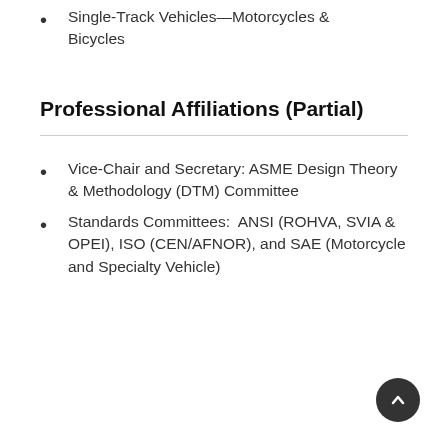Single-Track Vehicles—Motorcycles & Bicycles
Professional Affiliations (Partial)
Vice-Chair and Secretary: ASME Design Theory & Methodology (DTM) Committee
Standards Committees:  ANSI (ROHVA, SVIA & OPEI), ISO (CEN/AFNOR), and SAE (Motorcycle and Specialty Vehicle)